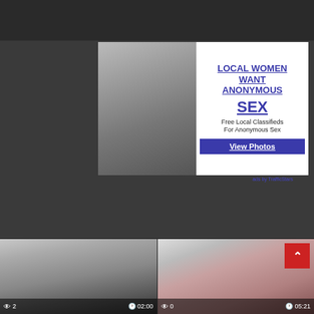[Figure (photo): Adult advertisement banner showing photo on left and text on right reading LOCAL WOMEN WANT ANONYMOUS SEX with Free Local Classifieds For Anonymous Sex and View Photos button]
[Figure (photo): Video thumbnail on left showing person, with view count 2 and duration 02:00]
[Figure (photo): Video thumbnail on right showing person, with view count 0 and duration 05:21]